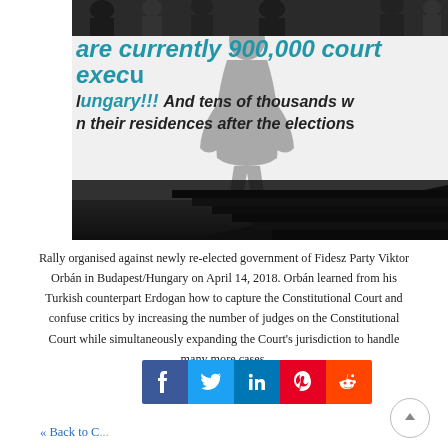[Figure (photo): Rally banner reading 'are currently 900,000 court exec... Hungary!!! And tens of thousands w... their residences after the elections' with shadow of a person cast on the banner, people visible in background wearing black, dark staircase at bottom right]
Rally organised against newly re-elected government of Fidesz Party Viktor Orbán in Budapest/Hungary on April 14, 2018. Orbán learned from his Turkish counterpart Erdogan how to capture the Constitutional Court and confuse critics by increasing the number of judges on the Constitutional Court while simultaneously expanding the Court's jurisdiction to handle many more cases.
« Back to C...